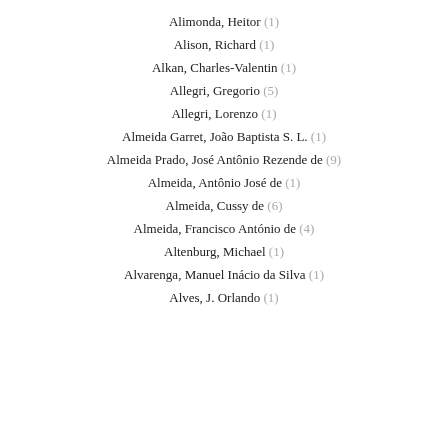Alimonda, Heitor (1)
Alison, Richard (1)
Alkan, Charles-Valentin (1)
Allegri, Gregorio (5)
Allegri, Lorenzo (1)
Almeida Garret, João Baptista S. L. (1)
Almeida Prado, José Antônio Rezende de (9)
Almeida, Antônio José de (1)
Almeida, Cussy de (6)
Almeida, Francisco António de (4)
Altenburg, Michael (1)
Alvarenga, Manuel Inácio da Silva (1)
Alves, J. Orlando (1)